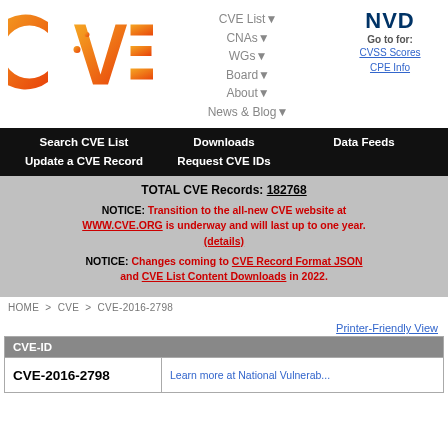[Figure (logo): CVE logo with orange gradient letters on white background]
CVE List▼  CNAs▼  WGs▼  Board▼  About▼  News & Blog▼
[Figure (logo): NVD logo - dark blue letters. Go to for: CVSS Scores, CPE Info]
Search CVE List  Downloads  Data Feeds  Update a CVE Record  Request CVE IDs
TOTAL CVE Records: 182768
NOTICE: Transition to the all-new CVE website at WWW.CVE.ORG is underway and will last up to one year. (details)
NOTICE: Changes coming to CVE Record Format JSON and CVE List Content Downloads in 2022.
HOME > CVE > CVE-2016-2798
Printer-Friendly View
| CVE-ID |  |
| --- | --- |
| CVE-2016-2798 | Learn more at National Vulnerab... |